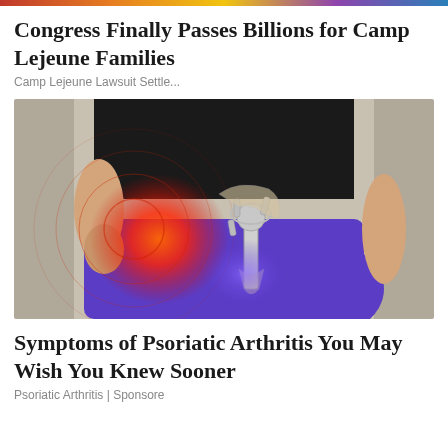Congress Finally Passes Billions for Camp Lejeune Families
Camp Lejeune Lawsuit Settle...
[Figure (photo): Medical illustration of hip/pelvis area showing a person in purple leggings and black top with an X-ray overlay of hip implant hardware, and a red glowing pain indicator on the hip area with concentric circles suggesting pain radiation.]
Symptoms of Psoriatic Arthritis You May Wish You Knew Sooner
Psoriatic Arthritis | Sponsore